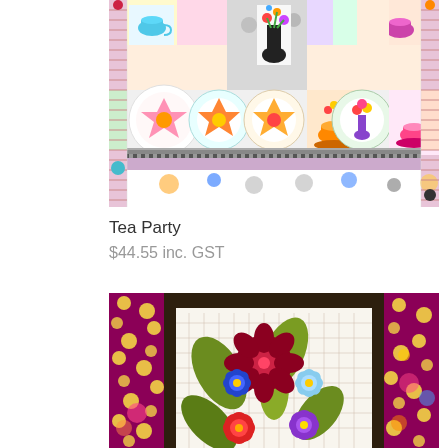[Figure (photo): Tea Party quilt pattern featuring colorful patchwork squares with teacups, flowers, and decorative medallions in bright rainbow colors]
Tea Party
$44.55 inc. GST
[Figure (photo): Floral applique quilt pattern with large colorful flowers (red, blue, purple) and green leaves on a patterned background with dark border and polka dot fabric]